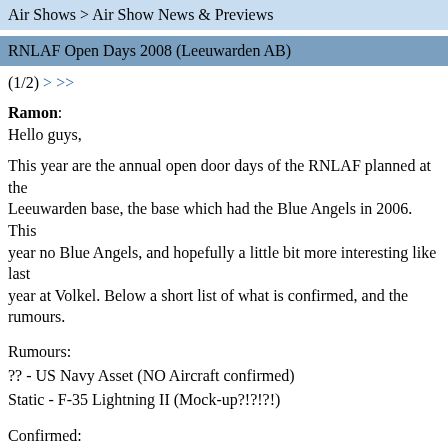Air Shows > Air Show News & Previews
RNLAF Open Days 2008 (Leeuwarden AB)
(1/2) > >>
Ramon:
Hello guys,
This year are the annual open door days of the RNLAF planned at the Leeuwarden base, the base which had the Blue Angels in 2006. This year no Blue Angels, and hopefully a little bit more interesting like last year at Volkel. Below a short list of what is confirmed, and the rumours.
Rumours:
?? - US Navy Asset (NO Aircraft confirmed)
Static - F-35 Lightning II (Mock-up?!?!?!)
Confirmed:
Flying - RNLAF Solo F-16 Display (Netherlands)
Flying - RNLAF Solo P-7 Display (Netherlands)